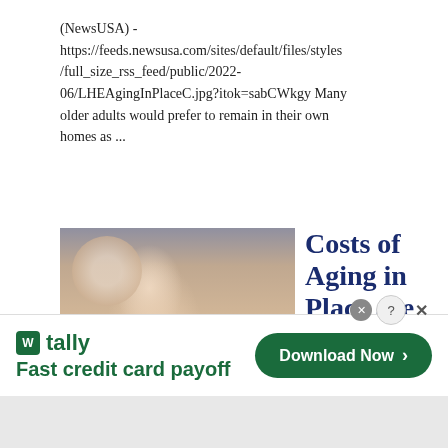(NewsUSA) - https://feeds.newsusa.com/sites/default/files/styles/full_size_rss_feed/public/2022-06/LHEAgingInPlaceC.jpg?itok=sabCWkgy Many older adults would prefer to remain in their own homes as ...
[Figure (photo): Elderly woman sitting in a chair, reaching out her hands, being assisted by a caregiver]
Costs of Aging in Place are Emotional and Financial
[Figure (infographic): Advertisement banner: Tally app - Fast credit card payoff - Download Now button]